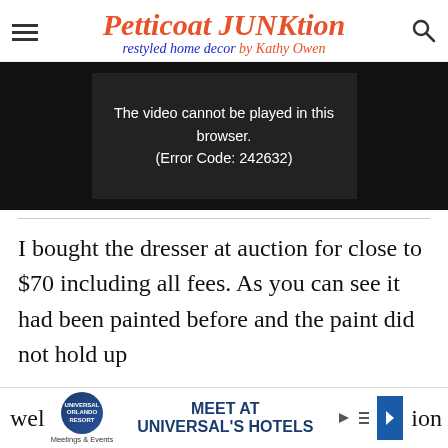Petticoat JUNKtion — restyled home decor by Kathy Owen
[Figure (screenshot): Video player showing error message: The video cannot be played in this browser. (Error Code: 242632)]
I bought the dresser at auction for close to $70 including all fees. As you can see it had been painted before and the paint did not hold up well
[Figure (other): Advertisement banner: Universal Orlando Resort Meetings & Events — MEET AT UNIVERSAL'S HOTELS]